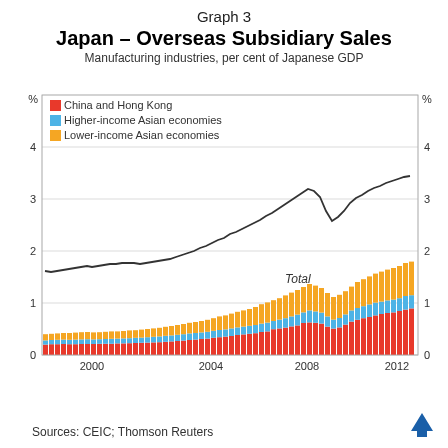Graph 3
Japan – Overseas Subsidiary Sales
Manufacturing industries, per cent of Japanese GDP
[Figure (stacked-bar-chart): Japan – Overseas Subsidiary Sales]
Sources: CEIC; Thomson Reuters